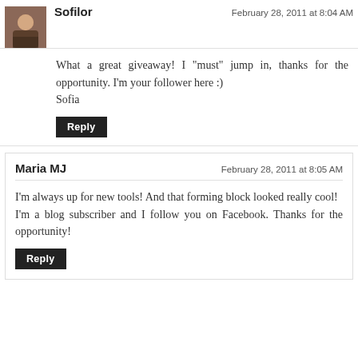Sofilor
February 28, 2011 at 8:04 AM
What a great giveaway! I "must" jump in, thanks for the opportunity. I'm your follower here :)
Sofia
Reply
Maria MJ
February 28, 2011 at 8:05 AM
I'm always up for new tools! And that forming block looked really cool!
I'm a blog subscriber and I follow you on Facebook. Thanks for the opportunity!
Reply